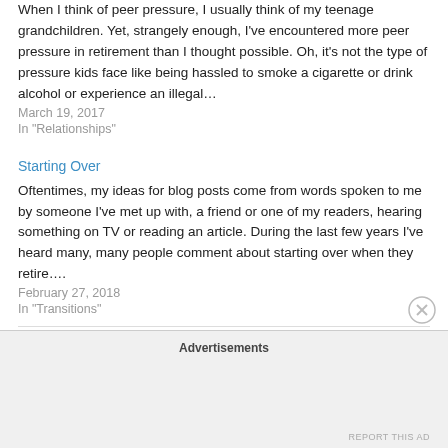When I think of peer pressure, I usually think of my teenage grandchildren. Yet, strangely enough, I've encountered more peer pressure in retirement than I thought possible. Oh, it's not the type of pressure kids face like being hassled to smoke a cigarette or drink alcohol or experience an illegal…
March 19, 2017
In "Relationships"
Starting Over
Oftentimes, my ideas for blog posts come from words spoken to me by someone I've met up with, a friend or one of my readers, hearing something on TV or reading an article. During the last few years I've heard many, many people comment about starting over when they retire….
February 27, 2018
In "Transitions"
Advertisements